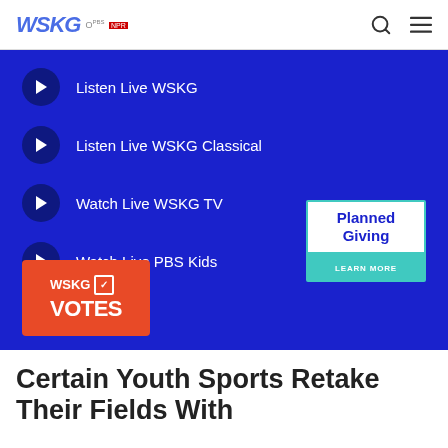WSKG PBS
[Figure (screenshot): Blue panel with four media player items: Listen Live WSKG, Listen Live WSKG Classical, Watch Live WSKG TV, Watch Live PBS Kids. Also contains a Planned Giving badge and WSKG Votes badge.]
Certain Youth Sports Retake Their Fields With